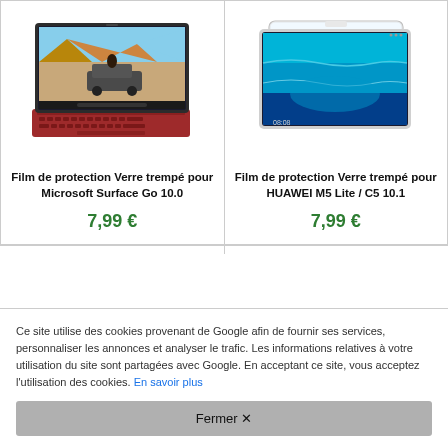[Figure (photo): Microsoft Surface Go 10.0 tablet with red keyboard, showing a video of a person on a car in a desert]
Film de protection Verre trempé pour Microsoft Surface Go 10.0
7,99 €
[Figure (photo): HUAWEI M5 Lite / C5 10.1 tablet with tempered glass screen protector overlay]
Film de protection Verre trempé pour HUAWEI M5 Lite / C5 10.1
7,99 €
Ce site utilise des cookies provenant de Google afin de fournir ses services, personnaliser les annonces et analyser le trafic. Les informations relatives à votre utilisation du site sont partagées avec Google. En acceptant ce site, vous acceptez l'utilisation des cookies. En savoir plus
Fermer ✕